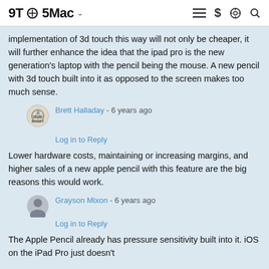9to5Mac
implementation of 3d touch this way will not only be cheaper, it will further enhance the idea that the ipad pro is the new generation's laptop with the pencil being the mouse. A new pencil with 3d touch built into it as opposed to the screen makes too much sense.
Brett Halladay - 6 years ago
Log in to Reply
Lower hardware costs, maintaining or increasing margins, and higher sales of a new apple pencil with this feature are the big reasons this would work.
Grayson Mixon - 6 years ago
Log in to Reply
The Apple Pencil already has pressure sensitivity built into it. iOS on the iPad Pro just doesn't